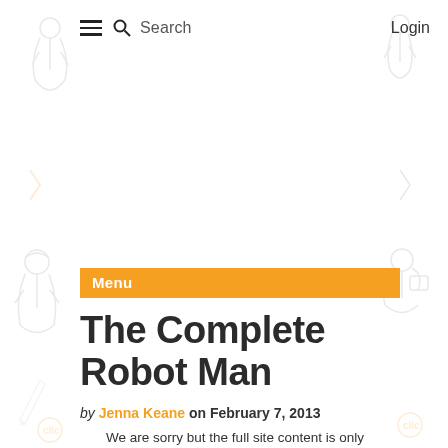☰ 🔍 Search   Login
[Figure (illustration): Background decorative line-art illustrations of thinking/reading figures, pencils, and 'clic' logos scattered around the page edges]
Menu
The Complete Robot Man
by Jenna Keane on February 7, 2013
We are sorry but the full site content is only